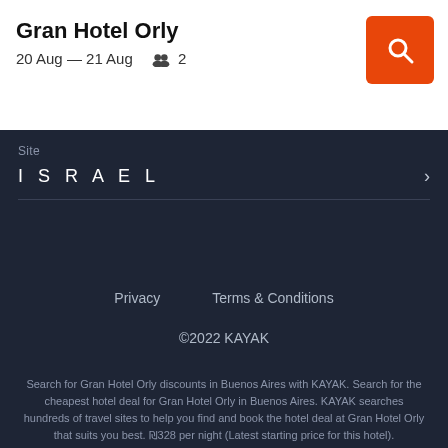Gran Hotel Orly
20 Aug — 21 Aug  👥 2
Site
ISRAEL
Privacy     Terms & Conditions
©2022 KAYAK
Search for Gran Hotel Orly discounts in Buenos Aires with KAYAK. Search for the cheapest hotel deal for Gran Hotel Orly in Buenos Aires. KAYAK searches hundreds of travel sites to help you find and book the hotel deal at Gran Hotel Orly that suits you best. ₪328 per night (Latest starting price for this hotel).